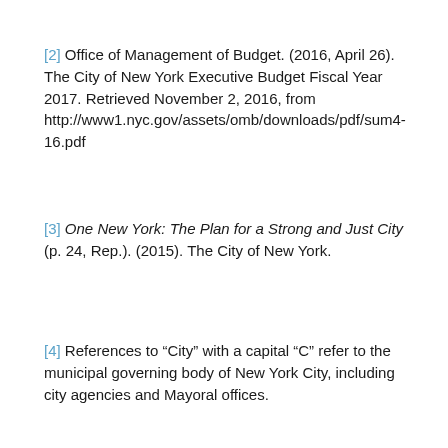[2] Office of Management of Budget. (2016, April 26). The City of New York Executive Budget Fiscal Year 2017. Retrieved November 2, 2016, from http://www1.nyc.gov/assets/omb/downloads/pdf/sum4-16.pdf
[3] One New York: The Plan for a Strong and Just City (p. 24, Rep.). (2015). The City of New York.
[4] References to “City” with a capital “C” refer to the municipal governing body of New York City, including city agencies and Mayoral offices.